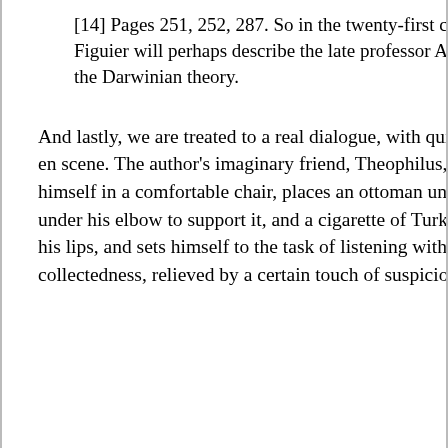[14] Pages 251, 252, 287. So in the twenty-first century some avatar of M. Figuier will perhaps describe the late professor Agassiz as the author of the Darwinian theory.
And lastly, we are treated to a real dialogue, with quite a dramatic mise en scene. The author's imaginary friend, Theophilus, enters, “seats himself in a comfortable chair, places an ottoman under his feet, a book under his elbow to support it, and a cigarette of Turkish tobacco between his lips, and sets himself to the task of listening with a grave air of collectedness, relieved by a certain touch of suspicious